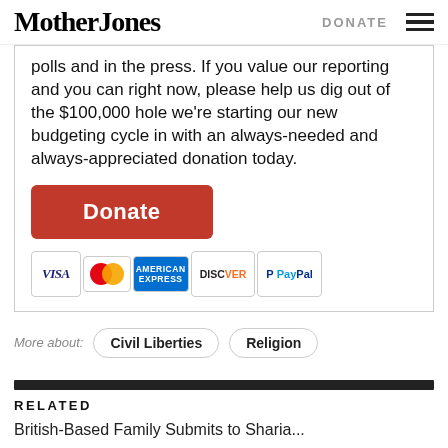Mother Jones | DONATE
polls and in the press. If you value our reporting and you can right now, please help us dig out of the $100,000 hole we're starting our new budgeting cycle in with an always-needed and always-appreciated donation today.
[Figure (other): Orange Donate button followed by payment method icons: VISA, MasterCard, American Express, Discover, PayPal]
More about: Civil Liberties  Religion
RELATED
British-Based Family Submits to Sharia...